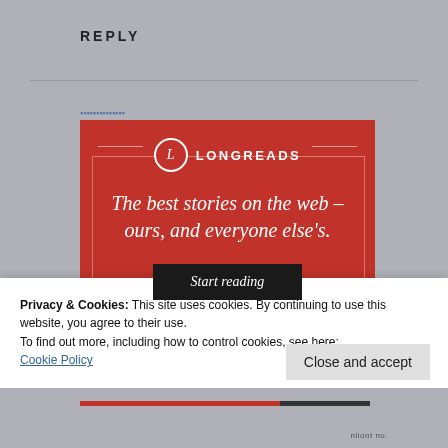REPLY
[Figure (illustration): Longreads advertisement banner with red background. Features the Longreads logo (circle with L) and text: 'The best stories on the web – ours, and everyone else's.' with a 'Start reading' button.]
Privacy & Cookies: This site uses cookies. By continuing to use this website, you agree to their use.
To find out more, including how to control cookies, see here:
Cookie Policy
Close and accept